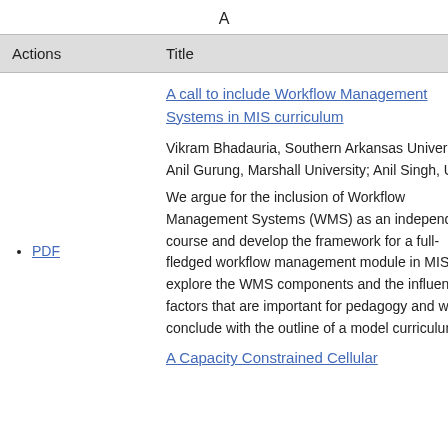A
| Actions | Title |
| --- | --- |
| • PDF | A call to include Workflow Management Systems in MIS curriculum
Vikram Bhadauria, Southern Arkansas University; Anil Gurung, Marshall University; Anil Singh, UTB
We argue for the inclusion of Workflow Management Systems (WMS) as an independent course and develop the framework for a full-fledged workflow management module in MIS. We explore the WMS components and the influential factors that are important for pedagogy and we conclude with the outline of a model curriculum. |
|  | A Capacity Constrained Cellular |